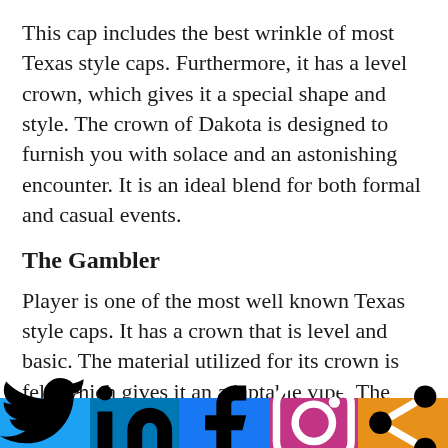This cap includes the best wrinkle of most Texas style caps. Furthermore, it has a level crown, which gives it a special shape and style. The crown of Dakota is designed to furnish you with solace and an astonishing encounter. It is an ideal blend for both formal and casual events.
The Gambler
Player is one of the most well known Texas style caps. It has a crown that is level and basic. The material utilized for its crown is felt, which gives it an adaptable vibe. The edge of a card shark cap is thicker than those
[Figure (infographic): Social media share bar with five buttons: Twitter (blue), LinkedIn (dark blue), Facebook (blue), Instagram (pink/purple), Share (orange)]